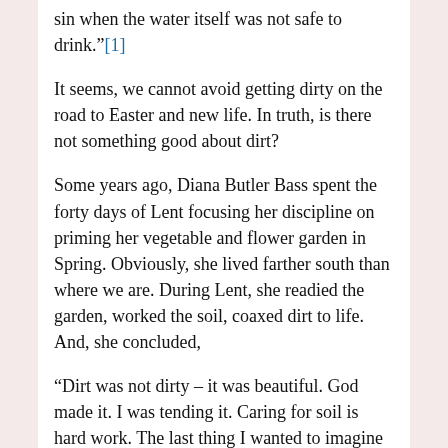sin when the water itself was not safe to drink."[1]
It seems, we cannot avoid getting dirty on the road to Easter and new life. In truth, is there not something good about dirt?
Some years ago, Diana Butler Bass spent the forty days of Lent focusing her discipline on priming her vegetable and flower garden in Spring. Obviously, she lived farther south than where we are. During Lent, she readied the garden, worked the soil, coaxed dirt to life. And, she concluded,
“Dirt was not dirty – it was beautiful. God made it. I was tending it. Caring for soil is hard work. The last thing I wanted to imagine was it being washed away. I was fighting for the dirt. I wanted more dirt, better dirt, richer dirt. I was adding stuff to it to make it mealier. I wanted dirtier dirt.”[2]
Yet, I would agree with Butler Bass, the symbols of the